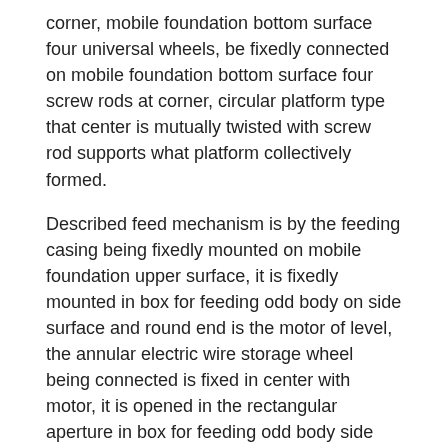corner, mobile foundation bottom surface four universal wheels, be fixedly connected on mobile foundation bottom surface four screw rods at corner, circular platform type that center is mutually twisted with screw rod supports what platform collectively formed.
Described feed mechanism is by the feeding casing being fixedly mounted on mobile foundation upper surface, it is fixedly mounted in box for feeding odd body on side surface and round end is the motor of level, the annular electric wire storage wheel being connected is fixed in center with motor, it is opened in the rectangular aperture in box for feeding odd body side surface, it is fixedly mounted in box for feeding odd body on side surface and is positioned at one group of miniature linear synchronous motor one that rectangular aperture is upper and lower, the compact heap being connected is fixed with miniature linear synchronous motor one telescopic end, it is positioned at the cushion on two pieces of compact heap opposite faces, it is fixedly mounted on the external side surface of box for feeding odd and is positioned at one group of miniature linear synchronous motor two that rectangular aperture is upper and lower, fix what the cutter